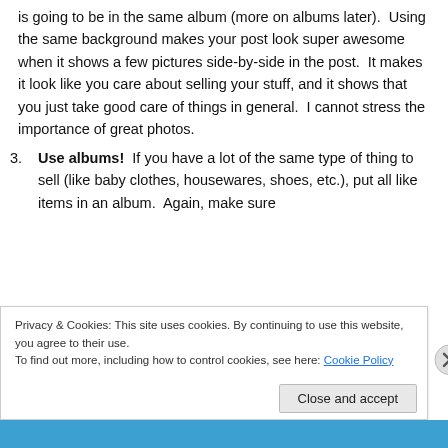is going to be in the same album (more on albums later).  Using the same background makes your post look super awesome when it shows a few pictures side-by-side in the post.  It makes it look like you care about selling your stuff, and it shows that you just take good care of things in general.  I cannot stress the importance of great photos.
3. Use albums!  If you have a lot of the same type of thing to sell (like baby clothes, housewares, shoes, etc.), put all like items in an album.  Again, make sure
Privacy & Cookies: This site uses cookies. By continuing to use this website, you agree to their use.
To find out more, including how to control cookies, see here: Cookie Policy
Close and accept